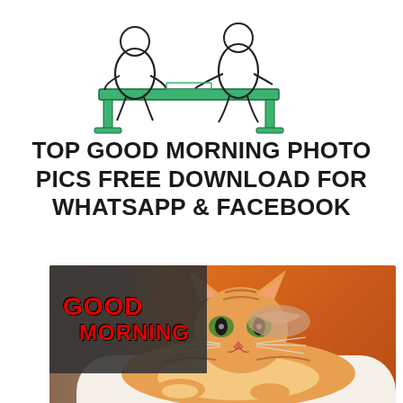[Figure (illustration): Line illustration of people sitting at a table, drawn in green and black outlines]
TOP GOOD MORNING PHOTO PICS FREE DOWNLOAD FOR WHATSAPP & FACEBOOK
[Figure (photo): Photo of an orange tabby cat lying on a white fluffy bed against an orange background, with a dark overlay box in the top-left corner containing the text 'GOOD MORNING' in red bold letters]